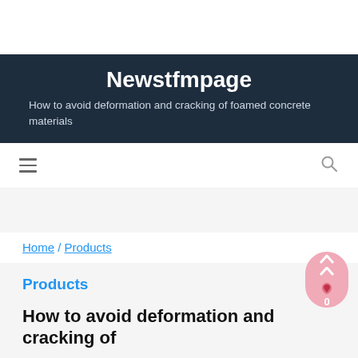Newstfmpage
How to avoid deformation and cracking of foamed concrete materials
Home / Products
Products
How to avoid deformation and cracking of